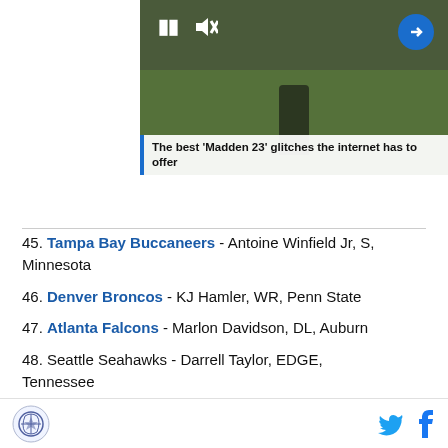[Figure (screenshot): Video thumbnail showing football player with pause and mute controls, blue arrow button, and caption overlay reading 'The best Madden 23 glitches the internet has to offer']
The best ‘Madden 23’ glitches the internet has to offer
45. Tampa Bay Buccaneers - Antoine Winfield Jr, S, Minnesota
46. Denver Broncos - KJ Hamler, WR, Penn State
47. Atlanta Falcons - Marlon Davidson, DL, Auburn
48. Seattle Seahawks - Darrell Taylor, EDGE, Tennessee
SB Nation logo | Twitter icon | Facebook icon